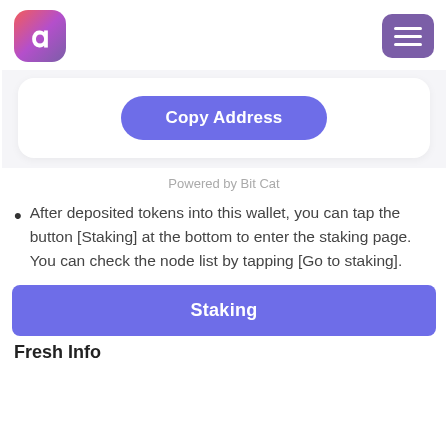[Figure (logo): App logo: white letter A on gradient pink-to-purple rounded square]
[Figure (other): Purple hamburger menu button with three white horizontal lines]
[Figure (screenshot): White card with a purple rounded 'Copy Address' button]
Powered by Bit Cat
After deposited tokens into this wallet, you can tap the button [Staking] at the bottom to enter the staking page. You can check the node list by tapping [Go to staking].
[Figure (screenshot): Large purple 'Staking' button]
Fresh Info